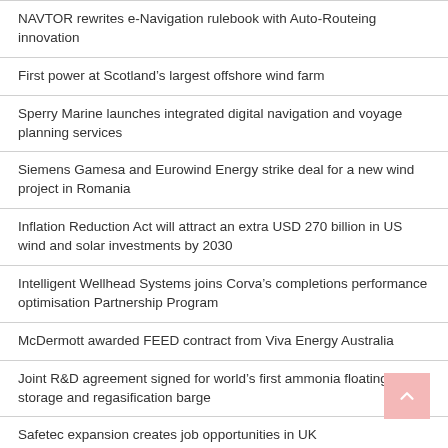NAVTOR rewrites e-Navigation rulebook with Auto-Routeing innovation
First power at Scotland's largest offshore wind farm
Sperry Marine launches integrated digital navigation and voyage planning services
Siemens Gamesa and Eurowind Energy strike deal for a new wind project in Romania
Inflation Reduction Act will attract an extra USD 270 billion in US wind and solar investments by 2030
Intelligent Wellhead Systems joins Corva's completions performance optimisation Partnership Program
McDermott awarded FEED contract from Viva Energy Australia
Joint R&D agreement signed for world's first ammonia floating storage and regasification barge
Safetec expansion creates job opportunities in UK